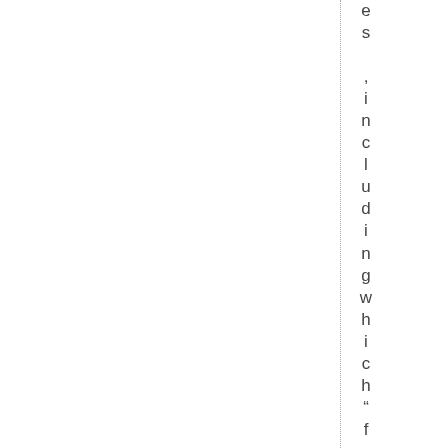es ,including which" family" of p